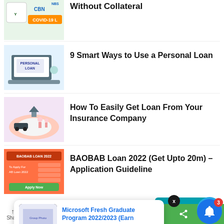Without Collateral
[Figure (photo): CBN COVID-19 loan thumbnail image with logo]
9 Smart Ways to Use a Personal Loan
[Figure (photo): Personal Loan laptop thumbnail image]
How To Easily Get Loan From Your Insurance Company
[Figure (photo): Insurance hands around house and car figures thumbnail]
BAOBAB Loan 2022 (Get Upto 20m) – Application Guideline
[Figure (photo): BAOBAB Loan 2022 orange promotional banner thumbnail]
[Figure (screenshot): Microsoft Fresh Graduate Program popup notification with thumbnail]
Microsoft Fresh Graduate Program 2022/2023 (Earn
3 hours ago
2 Shares